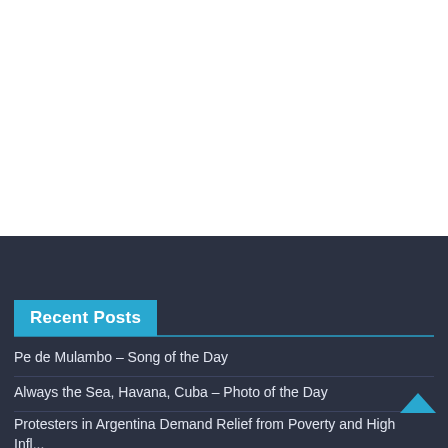Recent Posts
Pe de Mulambo – Song of the Day
Always the Sea, Havana, Cuba – Photo of the Day
Protesters in Argentina Demand Relief from Poverty and High Inflation